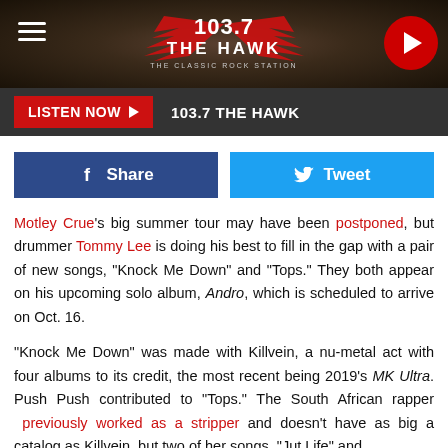[Figure (logo): 103.7 The Hawk - The Classic Rock Station radio station logo with wings, hamburger menu icon, and play button]
[Figure (infographic): Listen Now button bar with 103.7 THE HAWK text on dark background]
[Figure (infographic): Facebook Share and Twitter Tweet social sharing buttons]
Motley Crue's big summer tour may have been postponed, but drummer Tommy Lee is doing his best to fill in the gap with a pair of new songs, "Knock Me Down" and "Tops." They both appear on his upcoming solo album, Andro, which is scheduled to arrive on Oct. 16.
"Knock Me Down" was made with Killvein, a nu-metal act with four albums to its credit, the most recent being 2019's MK Ultra. Push Push contributed to "Tops." The South African rapper previously worked as a stripper and doesn't have as big a catalog as Killvein, but two of her songs, "Jut Life" and